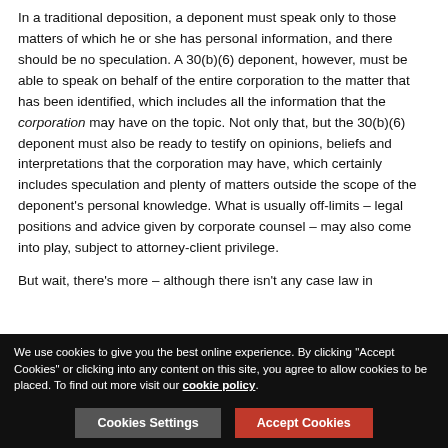In a traditional deposition, a deponent must speak only to those matters of which he or she has personal information, and there should be no speculation. A 30(b)(6) deponent, however, must be able to speak on behalf of the entire corporation to the matter that has been identified, which includes all the information that the corporation may have on the topic. Not only that, but the 30(b)(6) deponent must also be ready to testify on opinions, beliefs and interpretations that the corporation may have, which certainly includes speculation and plenty of matters outside the scope of the deponent's personal knowledge. What is usually off-limits – legal positions and advice given by corporate counsel – may also come into play, subject to attorney-client privilege.
But wait, there's more – although there isn't any case law in Kentucky on the issue, the trendline of federal cases allows
We use cookies to give you the best online experience. By clicking "Accept Cookies" or clicking into any content on this site, you agree to allow cookies to be placed. To find out more visit our cookie policy.